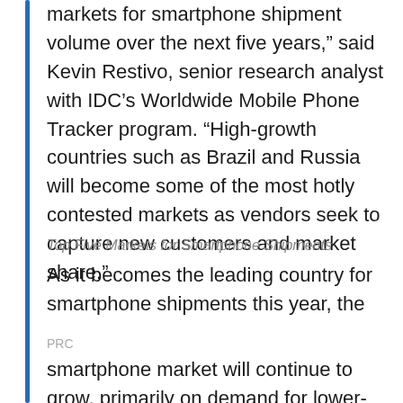markets for smartphone shipment volume over the next five years,” said Kevin Restivo, senior research analyst with IDC’s Worldwide Mobile Phone Tracker program. “High-growth countries such as Brazil and Russia will become some of the most hotly contested markets as vendors seek to capture new customers and market share.”
Top Five Markets for Smartphone Shipments
As it becomes the leading country for smartphone shipments this year, the
PRC
smartphone market will continue to grow, primarily on demand for lower-cost handsets. While this bodes well from a